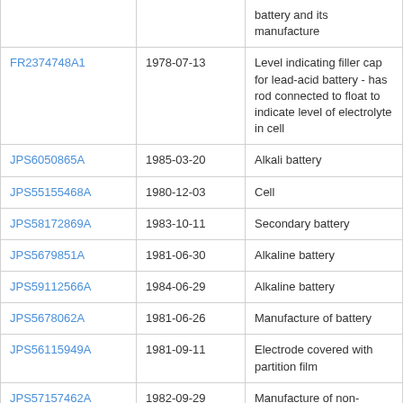| Patent ID | Date | Description |
| --- | --- | --- |
|  |  | battery and its manufacture |
| FR2374748A1 | 1978-07-13 | Level indicating filler cap for lead-acid battery - has rod connected to float to indicate level of electrolyte in cell |
| JPS6050865A | 1985-03-20 | Alkali battery |
| JPS55155468A | 1980-12-03 | Cell |
| JPS58172869A | 1983-10-11 | Secondary battery |
| JPS5679851A | 1981-06-30 | Alkaline battery |
| JPS59112566A | 1984-06-29 | Alkaline battery |
| JPS5678062A | 1981-06-26 | Manufacture of battery |
| JPS56115949A | 1981-09-11 | Electrode covered with partition film |
| JPS57157462A | 1982-09-29 | Manufacture of non-aqueous electrolyte battery |